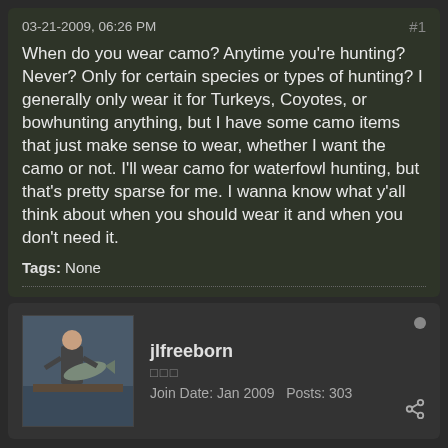03-21-2009, 06:26 PM  #1
When do you wear camo? Anytime you're hunting? Never? Only for certain species or types of hunting? I generally only wear it for Turkeys, Coyotes, or bowhunting anything, but I have some camo items that just make sense to wear, whether I want the camo or not. I'll wear camo for waterfowl hunting, but that's pretty sparse for me. I wanna know what y'all think about when you should wear it and when you don't need it.
Tags: None
jlfreeborn
Join Date: Jan 2009   Posts: 303